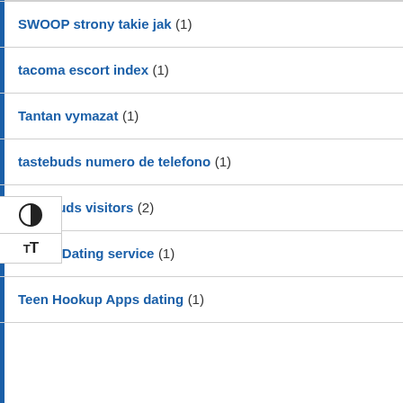SWOOP strony takie jak (1)
tacoma escort index (1)
Tantan vymazat (1)
tastebuds numero de telefono (1)
tastebuds visitors (2)
Tattoo Dating service (1)
Teen Hookup Apps dating (1)